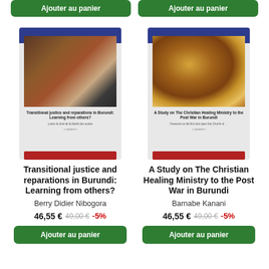[Figure (illustration): Book cover: Transitional justice and reparations in Burundi: Learning from others? by Berry Didier Nibogora, Lambert Academic Publishing]
Transitional justice and reparations in Burundi: Learning from others?
Berry Didier Nibogora
46.55 € 49.00 € -5%
Ajouter au panier
[Figure (illustration): Book cover: A Study on The Christian Healing Ministry to the Post War in Burundi by Barnabe Kanani, Lambert Academic Publishing]
A Study on The Christian Healing Ministry to the Post War in Burundi
Barnabe Kanani
46.55 € 49.00 € -5%
Ajouter au panier